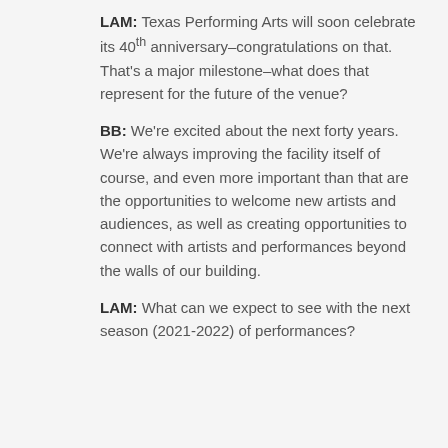LAM: Texas Performing Arts will soon celebrate its 40th anniversary–congratulations on that. That's a major milestone–what does that represent for the future of the venue?
BB: We're excited about the next forty years. We're always improving the facility itself of course, and even more important than that are the opportunities to welcome new artists and audiences, as well as creating opportunities to connect with artists and performances beyond the walls of our building.
LAM: What can we expect to see with the next season (2021-2022) of performances?